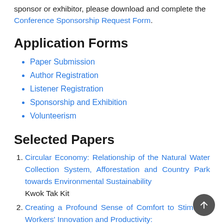sponsor or exhibitor, please download and complete the Conference Sponsorship Request Form.
Application Forms
Paper Submission
Author Registration
Listener Registration
Sponsorship and Exhibition
Volunteerism
Selected Papers
Circular Economy: Relationship of the Natural Water Collection System, Afforestation and Country Park towards Environmental Sustainability
Kwok Tak Kit
Creating a Profound Sense of Comfort to Stimulate Workers' Innovation and Productivity: